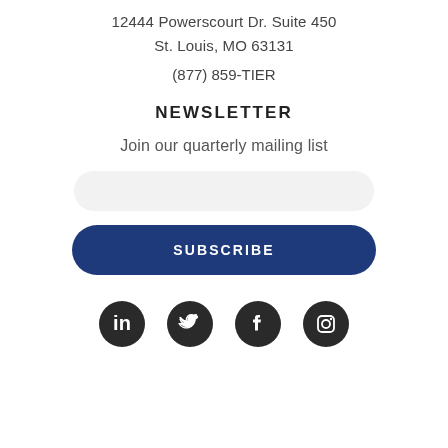12444 Powerscourt Dr. Suite 450
St. Louis, MO 63131
(877) 859-TIER
NEWSLETTER
Join our quarterly mailing list
[Figure (other): Email input field (rounded rectangle, light gray background)]
[Figure (other): Subscribe button (rounded rectangle, dark navy blue, white bold text 'SUBSCRIBE')]
[Figure (other): Four social media icons: LinkedIn, Twitter, Facebook, Instagram — dark circular icons]